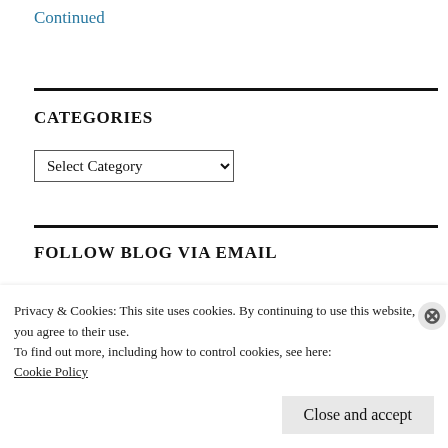Continued
CATEGORIES
Select Category
FOLLOW BLOG VIA EMAIL
Privacy & Cookies: This site uses cookies. By continuing to use this website, you agree to their use.
To find out more, including how to control cookies, see here:
Cookie Policy
Close and accept